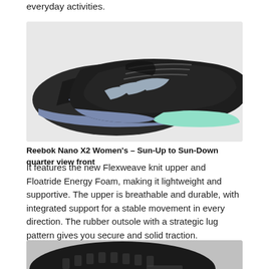everyday activities.
[Figure (photo): Reebok Nano X2 Women's training shoes in black with blue and mint accent colors, quarter view front, showing two shoes side by side]
Reebok Nano X2 Women's – Sun-Up to Sun-Down quarter view front
It features the new Flexweave knit upper and Floatride Energy Foam, making it lightweight and supportive. The upper is breathable and durable, with integrated support for a stable movement in every direction. The rubber outsole with a strategic lug pattern gives you secure and solid traction.
[Figure (photo): Bottom view of a shoe showing black rubber outsole with lug pattern, with pink and yellow accents visible on the side]